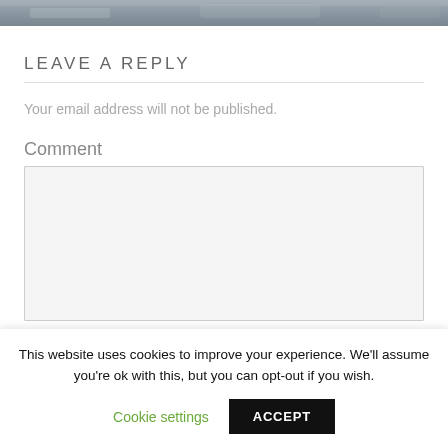[Figure (photo): Top portion of an image, appears to be a nature/animal photo with grey/blue tones, only a thin strip visible at the top of the page.]
LEAVE A REPLY
Your email address will not be published.
Comment
This website uses cookies to improve your experience. We'll assume you're ok with this, but you can opt-out if you wish.
Cookie settings
ACCEPT